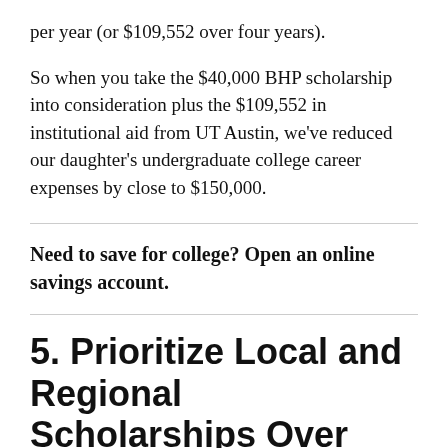per year (or $109,552 over four years).
So when you take the $40,000 BHP scholarship into consideration plus the $109,552 in institutional aid from UT Austin, we've reduced our daughter's undergraduate college career expenses by close to $150,000.
Need to save for college? Open an online savings account.
5. Prioritize Local and Regional Scholarships Over National Ones